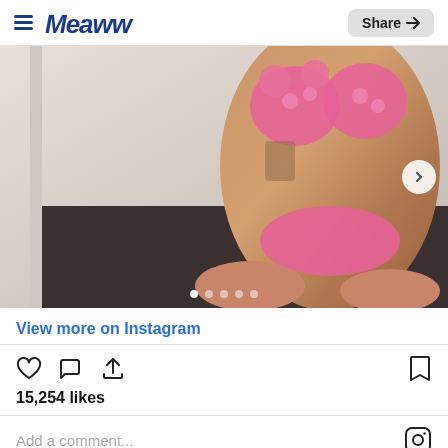Meaww — Share
[Figure (photo): Person posing in a pink crochet bikini in front of a mirror, with tattoos visible]
View more on Instagram
15,254 likes
Add a comment...